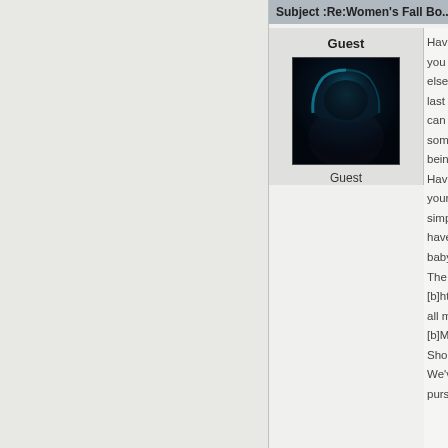Subject :Re:Women's Fall Bo...
Guest
[Figure (photo): Dark hooded figure avatar image with blue glow lighting against black background]
Guest
Have you b... you h... else c... last l... can b... some... being... Have... your ... simp... have ... baby... The c... [b]htt... all m... [b]Mi... Shoe... We'v... purse...